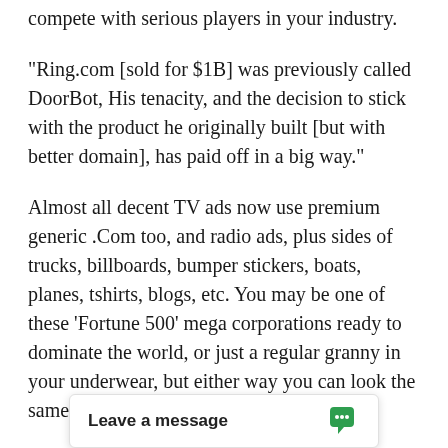compete with serious players in your industry.
"Ring.com [sold for $1B] was previously called DoorBot, His tenacity, and the decision to stick with the product he originally built [but with better domain], has paid off in a big way."
Almost all decent TV ads now use premium generic .Com too, and radio ads, plus sides of trucks, billboards, bumper stickers, boats, planes, tshirts, blogs, etc. You may be one of these 'Fortune 500' mega corporations ready to dominate the world, or just a regular granny in your underwear, but either way you can look the same with TeInfusionEs.com.
DomainMarket.com is the only authorized pricing agent for this domain name, anyone else is a third party seller. Every dor... completed by top wo...
[Figure (other): Chat widget bar with 'Leave a message' text and a green chat icon on the right]